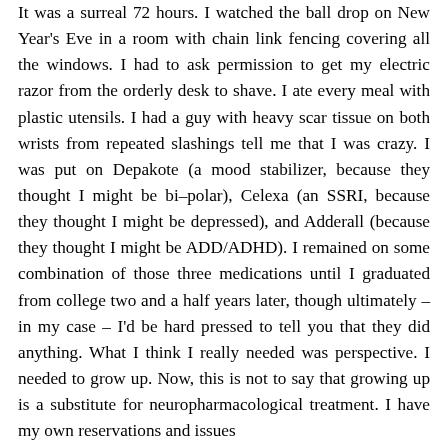It was a surreal 72 hours. I watched the ball drop on New Year's Eve in a room with chain link fencing covering all the windows. I had to ask permission to get my electric razor from the orderly desk to shave. I ate every meal with plastic utensils. I had a guy with heavy scar tissue on both wrists from repeated slashings tell me that I was crazy. I was put on Depakote (a mood stabilizer, because they thought I might be bi–polar), Celexa (an SSRI, because they thought I might be depressed), and Adderall (because they thought I might be ADD/ADHD). I remained on some combination of those three medications until I graduated from college two and a half years later, though ultimately – in my case – I'd be hard pressed to tell you that they did anything. What I think I really needed was perspective. I needed to grow up. Now, this is not to say that growing up is a substitute for neuropharmacological treatment. I have my own reservations and issues